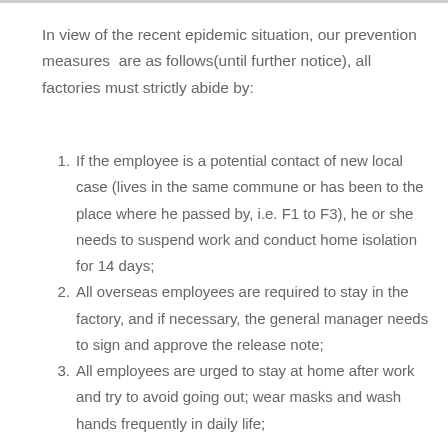In view of the recent epidemic situation, our prevention measures  are as follows(until further notice), all factories must strictly abide by:
If the employee is a potential contact of new local case (lives in the same commune or has been to the place where he passed by, i.e. F1 to F3), he or she needs to suspend work and conduct home isolation for 14 days;
All overseas employees are required to stay in the factory, and if necessary, the general manager needs to sign and approve the release note;
All employees are urged to stay at home after work and try to avoid going out; wear masks and wash hands frequently in daily life;